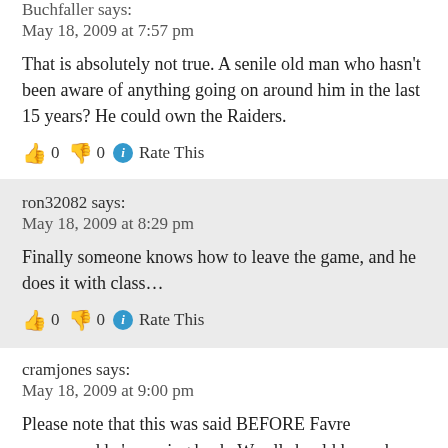Buchfaller says:
May 18, 2009 at 7:57 pm
That is absolutely not true. A senile old man who hasn't been aware of anything going on around him in the last 15 years? He could own the Raiders.
👍 0 👎 0 ℹ Rate This
ron32082 says:
May 18, 2009 at 8:29 pm
Finally someone knows how to leave the game, and he does it with class…
👍 0 👎 0 ℹ Rate This
cramjones says:
May 18, 2009 at 9:00 pm
Please note that this was said BEFORE Favre announced he's coming back. We all should know by now how much…